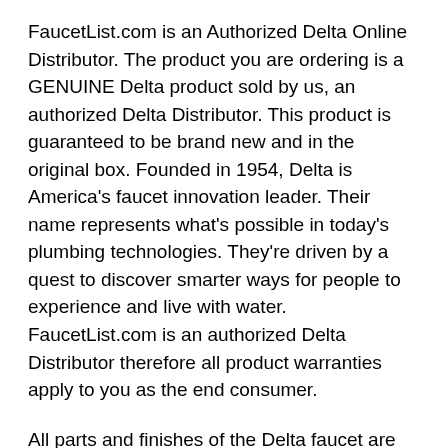FaucetList.com is an Authorized Delta Online Distributor. The product you are ordering is a GENUINE Delta product sold by us, an authorized Delta Distributor. This product is guaranteed to be brand new and in the original box. Founded in 1954, Delta is America's faucet innovation leader. Their name represents what's possible in today's plumbing technologies. They're driven by a quest to discover smarter ways for people to experience and live with water. FaucetList.com is an authorized Delta Distributor therefore all product warranties apply to you as the end consumer.
All parts and finishes of the Delta faucet are warranted to the original consumer purchaser to be free from defects in material and workmanship for as long as the original consumer purchaser owns their